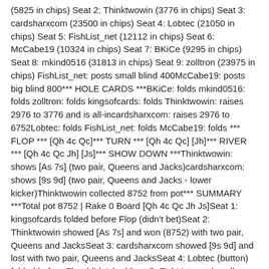(5825 in chips) Seat 2: Thinktwowin (3776 in chips) Seat 3: cardsharxcom (23500 in chips) Seat 4: Lobtec (21050 in chips) Seat 5: FishList_net (12112 in chips) Seat 6: McCabe19 (10324 in chips) Seat 7: BKiCe (9295 in chips) Seat 8: mkind0516 (31813 in chips) Seat 9: zolltron (23975 in chips) FishList_net: posts small blind 400McCabe19: posts big blind 800*** HOLE CARDS ***BKiCe: folds mkind0516: folds zolltron: folds kingsofcards: folds Thinktwowin: raises 2976 to 3776 and is all-incardsharxcom: raises 2976 to 6752Lobtec: folds FishList_net: folds McCabe19: folds *** FLOP *** [Qh 4c Qc]*** TURN *** [Qh 4c Qc] [Jh]*** RIVER *** [Qh 4c Qc Jh] [Js]*** SHOW DOWN ***Thinktwowin: shows [As 7s] (two pair, Queens and Jacks)cardsharxcom: shows [9s 9d] (two pair, Queens and Jacks - lower kicker)Thinktwowin collected 8752 from pot*** SUMMARY ***Total pot 8752 | Rake 0 Board [Qh 4c Qc Jh Js]Seat 1: kingsofcards folded before Flop (didn't bet)Seat 2: Thinktwowin showed [As 7s] and won (8752) with two pair, Queens and JacksSeat 3: cardsharxcom showed [9s 9d] and lost with two pair, Queens and JacksSeat 4: Lobtec (button) folded before Flop (didn't bet)Seat 5: FishList_net (small blind) folded before FlopSeat 6: McCabe19 (big blind) folded before FlopSeat 7: BKiCe folded before Flop (didn't bet)Seat 8: mkind0516 folded before